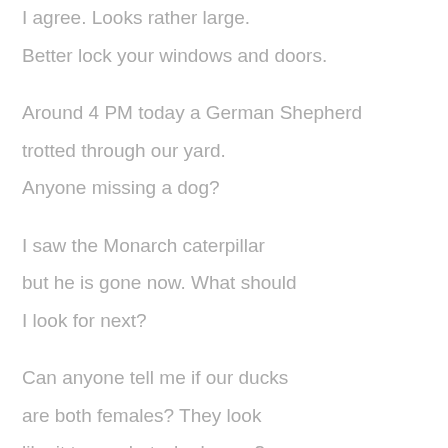I agree. Looks rather large.
Better lock your windows and doors.
Around 4 PM today a German Shepherd trotted through our yard. Anyone missing a dog?
I saw the Monarch caterpillar but he is gone now. What should I look for next?
Can anyone tell me if our ducks are both females? They look like it to me, but who knows?